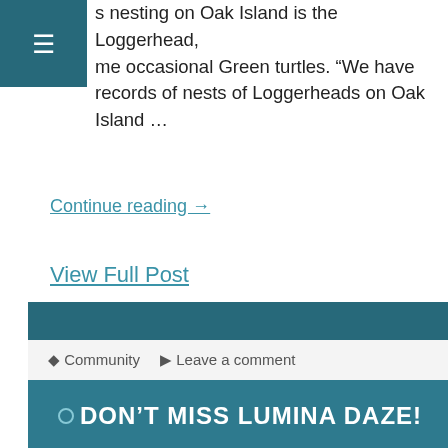s nesting on Oak Island is the Loggerhead, me occasional Green turtles. “We have records of nests of Loggerheads on Oak Island …
Continue reading →
View Full Post
Community   Leave a comment
DON’T MISS LUMINA DAZE!
There’s an event you won’t want to miss on Sunday, August 28, 2011 if you’re in the area. Just a short drive from your Ocean Isle Beach Rentals the event, Lumina Daze, will take place from 4-10 p.m. at The Blockade Runner Beach Resort, 275 Waynick Boulevard, Wrightsville Beach, NC. This